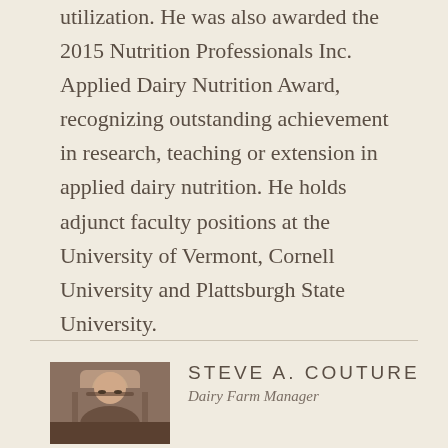utilization. He was also awarded the 2015 Nutrition Professionals Inc. Applied Dairy Nutrition Award, recognizing outstanding achievement in research, teaching or extension in applied dairy nutrition. He holds adjunct faculty positions at the University of Vermont, Cornell University and Plattsburgh State University.
[Figure (photo): Headshot photo of Steve A. Couture, a man wearing glasses]
STEVE A. COUTURE
Dairy Farm Manager